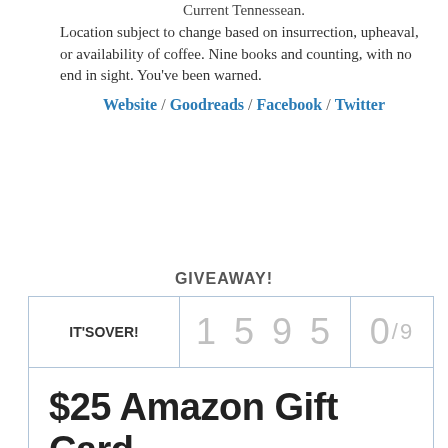Current Tennessean. Location subject to change based on insurrection, upheaval, or availability of coffee. Nine books and counting, with no end in sight. You've been warned.
Website / Goodreads / Facebook / Twitter
GIVEAWAY!
| IT'S OVER! | 1 5 9 5 | 0/9 |
| --- | --- | --- |
$25 Amazon Gift Card
BROUGHT TO YOU BY: